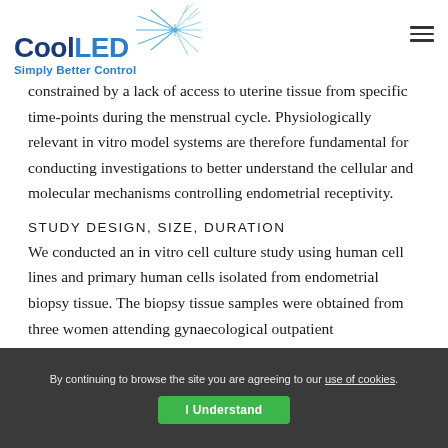CoolLED Simply Better Control
constrained by a lack of access to uterine tissue from specific time-points during the menstrual cycle. Physiologically relevant in vitro model systems are therefore fundamental for conducting investigations to better understand the cellular and molecular mechanisms controlling endometrial receptivity.
STUDY DESIGN, SIZE, DURATION
We conducted an in vitro cell culture study using human cell lines and primary human cells isolated from endometrial biopsy tissue. The biopsy tissue samples were obtained from three women attending gynaecological outpatient
By continuing to browse the site you are agreeing to our use of cookies. I Understand